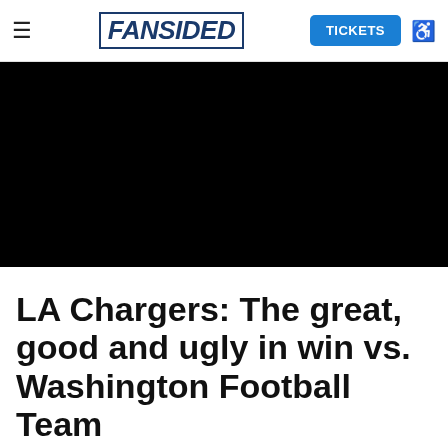≡ FANSIDED TICKETS ♿
[Figure (photo): Black rectangle representing a video or image placeholder area]
LA Chargers: The great, good and ugly in win vs. Washington Football Team